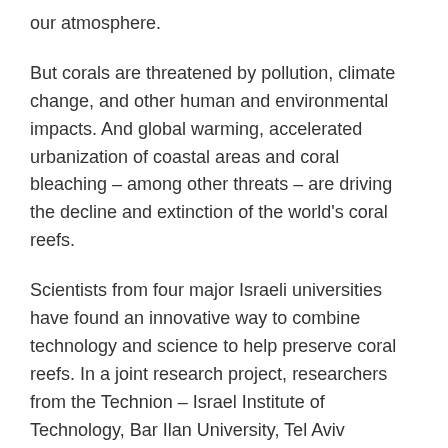our atmosphere.
But corals are threatened by pollution, climate change, and other human and environmental impacts. And global warming, accelerated urbanization of coastal areas and coral bleaching – among other threats – are driving the decline and extinction of the world's coral reefs.
Scientists from four major Israeli universities have found an innovative way to combine technology and science to help preserve coral reefs. In a joint research project, researchers from the Technion – Israel Institute of Technology, Bar Ilan University, Tel Aviv University and Haifa University have developed a novel 3D printing method based on the natural structure of coral reefs off the southern coastal city of Eilat.
Coral reef in the Red Sea. Deposit photos
The joint research was led by Professor Oren Levy and Ph.D.